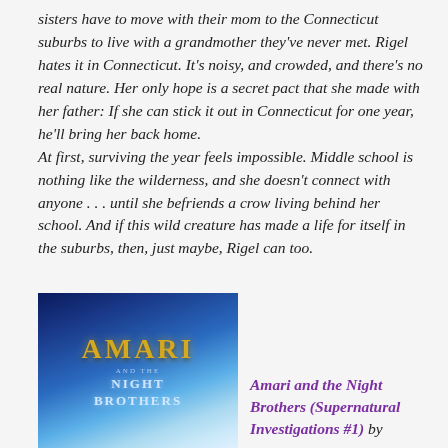sisters have to move with their mom to the Connecticut suburbs to live with a grandmother they've never met. Rigel hates it in Connecticut. It's noisy, and crowded, and there's no real nature. Her only hope is a secret pact that she made with her father: If she can stick it out in Connecticut for one year, he'll bring her back home.
At first, surviving the year feels impossible. Middle school is nothing like the wilderness, and she doesn't connect with anyone . . . until she befriends a crow living behind her school. And if this wild creature has made a life for itself in the suburbs, then, just maybe, Rigel can too.
[Figure (illustration): Book cover for 'Amari and the Night Brothers' showing the title in gold and blue text on a blue cosmic/fantasy background]
Amari and the Night Brothers (Supernatural Investigations #1) by